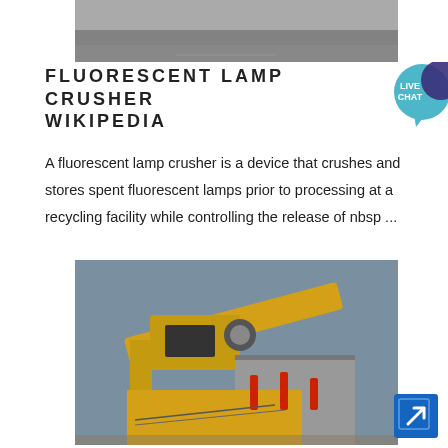[Figure (photo): Top portion of a photo showing a road/ground surface, partially cropped]
FLUORESCENT LAMP CRUSHER WIKIPEDIA
[Figure (illustration): Live Chat speech bubble icon in teal/purple]
A fluorescent lamp crusher is a device that crushes and stores spent fluorescent lamps prior to processing at a recycling facility while controlling the release of nbsp ...
[Figure (photo): Photo of a yellow industrial machine (lamp crusher or similar heavy equipment) with red pins/handles on top, against a grey sky background]
[Figure (illustration): Blue square button with a white arrow pointing up-right (navigation/link icon)]